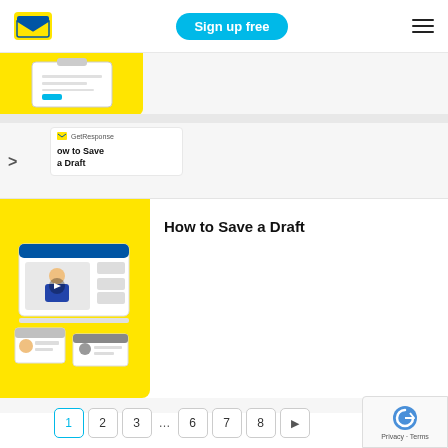[Figure (logo): GetResponse email marketing logo - envelope icon with blue and yellow colors]
Sign up free
[Figure (screenshot): Partially visible card thumbnail with yellow background showing a clipboard/form graphic]
[Figure (screenshot): Small card thumbnail with GetResponse logo and title 'How to Save a Draft']
How to Save a Draft
[Figure (illustration): Yellow background card with illustration of video/webinar interface showing a presenter]
1 2 3 … 6 7 8 ▶